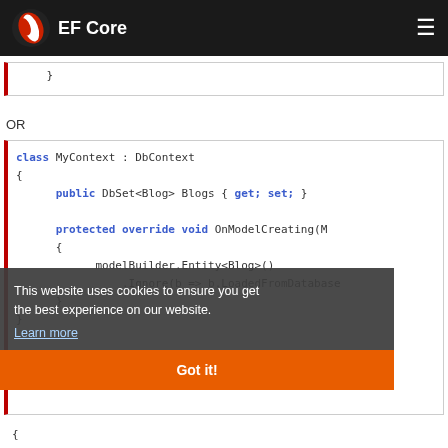EF Core
}
OR
This website uses cookies to ensure you get the best experience on our website.
Learn more
Got it!
{